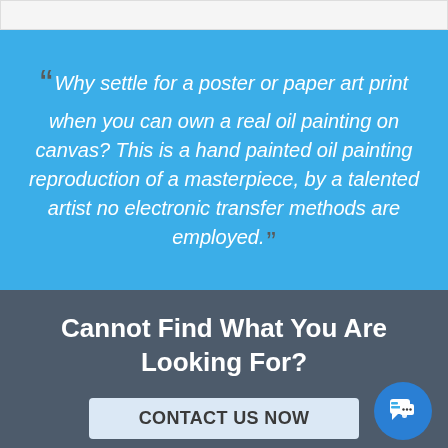Why settle for a poster or paper art print when you can own a real oil painting on canvas? This is a hand painted oil painting reproduction of a masterpiece, by a talented artist no electronic transfer methods are employed.
Cannot Find What You Are Looking For?
CONTACT US NOW